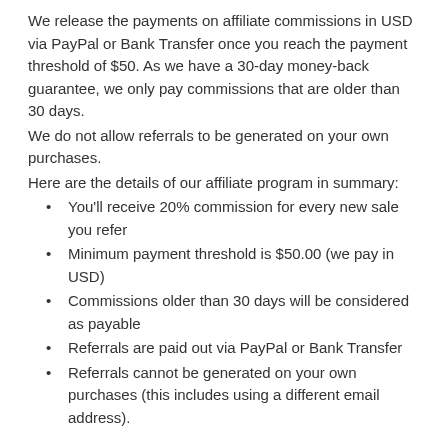We release the payments on affiliate commissions in USD via PayPal or Bank Transfer once you reach the payment threshold of $50. As we have a 30-day money-back guarantee, we only pay commissions that are older than 30 days.
We do not allow referrals to be generated on your own purchases.
Here are the details of our affiliate program in summary:
You'll receive 20% commission for every new sale you refer
Minimum payment threshold is $50.00 (we pay in USD)
Commissions older than 30 days will be considered as payable
Referrals are paid out via PayPal or Bank Transfer
Referrals cannot be generated on your own purchases (this includes using a different email address).
Referral cookie duration
When a potential customer clicks on your referral link, a cookie is stored in their browser to track your referral. The cookie is then stored for 30 days to give your referred customers time to decide if they wish to purchase our products or ask us any pre-sales questions they may have.